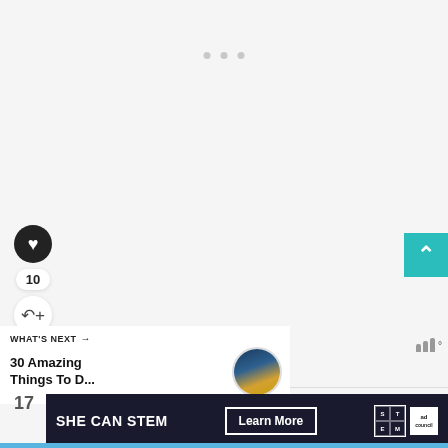[Figure (screenshot): Three small dots at top center of page on gray background — navigation indicator dots]
[Figure (infographic): Social sidebar with heart/like button (black circle, heart icon), count badge showing '10', and share button (circle with share icon)]
[Figure (infographic): Teal scroll-to-top button with white chevron/up arrow on right side]
WHAT'S NEXT →
30 Amazing Things To D...
[Figure (photo): Circular thumbnail image showing a temple/pagoda at dusk with golden and blue tones — Bangkok Thailand Wat Arun]
[Figure (infographic): Weather signal bars icon with degree symbol on far right]
17
[Figure (infographic): Dark navy advertisement banner: SHE CAN STEM | Learn More button | STEM logo grid | Ad Council logo]